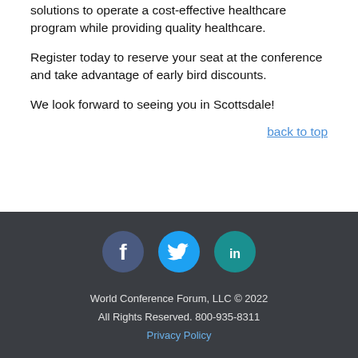solutions to operate a cost-effective healthcare program while providing quality healthcare.
Register today to reserve your seat at the conference and take advantage of early bird discounts.
We look forward to seeing you in Scottsdale!
back to top
[Figure (illustration): Social media icons: Facebook (dark blue circle), Twitter (blue circle), LinkedIn (teal circle)]
World Conference Forum, LLC © 2022
All Rights Reserved. 800-935-8311
Privacy Policy